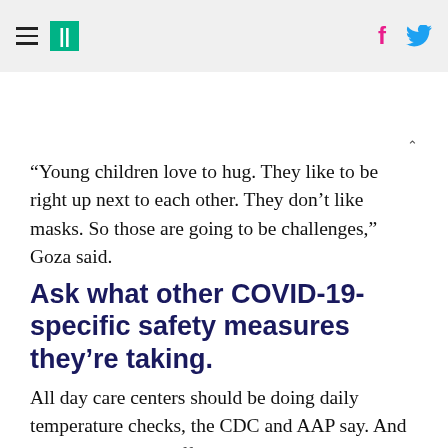≡  ||  f  🐦
“Young children love to hug. They like to be right up next to each other. They don’t like masks. So those are going to be challenges,” Goza said.
Ask what other COVID-19-specific safety measures they’re taking.
All day care centers should be doing daily temperature checks, the CDC and AAP say. And to avoid putting staff at risk, they should be done with